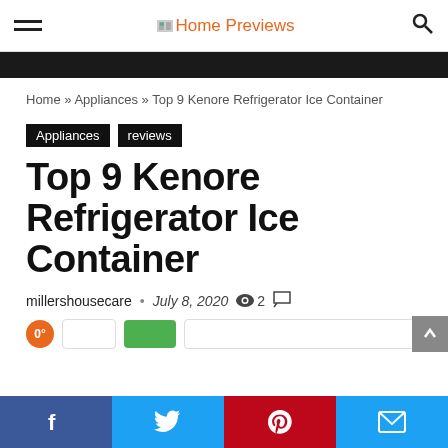Home Previews
Home » Appliances » Top 9 Kenore Refrigerator Ice Container
Appliances
reviews
Top 9 Kenore Refrigerator Ice Container
millershousecare • July 8, 2020 👁 2 💬
Facebook Twitter Pinterest Email